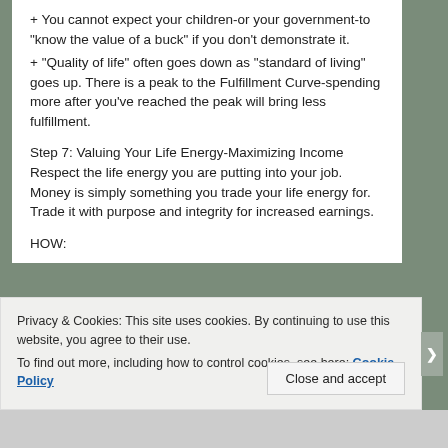+ You cannot expect your children-or your government-to “know the value of a buck” if you don’t demonstrate it.
+ “Quality of life” often goes down as “standard of living” goes up. There is a peak to the Fulfillment Curve-spending more after you’ve reached the peak will bring less fulfillment.
Step 7: Valuing Your Life Energy-Maximizing Income Respect the life energy you are putting into your job. Money is simply something you trade your life energy for. Trade it with purpose and integrity for increased earnings.
HOW:
Privacy & Cookies: This site uses cookies. By continuing to use this website, you agree to their use.
To find out more, including how to control cookies, see here: Cookie Policy
Close and accept